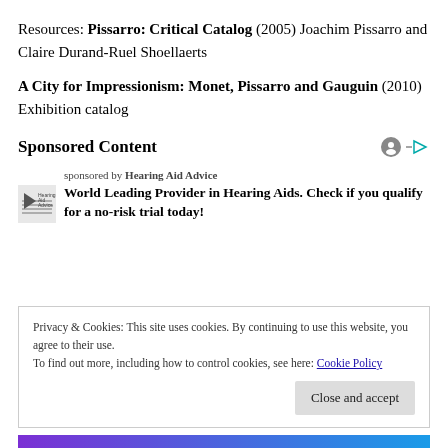Resources: Pissarro: Critical Catalog (2005) Joachim Pissarro and Claire Durand-Ruel Shoellaerts
A City for Impressionism: Monet, Pissarro and Gauguin (2010) Exhibition catalog
Sponsored Content
[Figure (other): Sponsored ad: Hearing Aid Advice logo with text 'World Leading Provider in Hearing Aids. Check if you qualify for a no-risk trial today!']
Privacy & Cookies: This site uses cookies. By continuing to use this website, you agree to their use. To find out more, including how to control cookies, see here: Cookie Policy